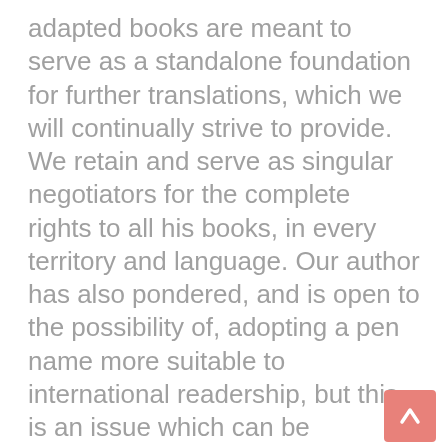adapted books are meant to serve as a standalone foundation for further translations, which we will continually strive to provide. We retain and serve as singular negotiators for the complete rights to all his books, in every territory and language. Our author has also pondered, and is open to the possibility of, adopting a pen name more suitable to international readership, but this is an issue which can be discussed once a deal is initiated.
At this point, I am pleased to present to you Tale of Tales – an epic fantasy trilogy of novels based on the motifs of ancient